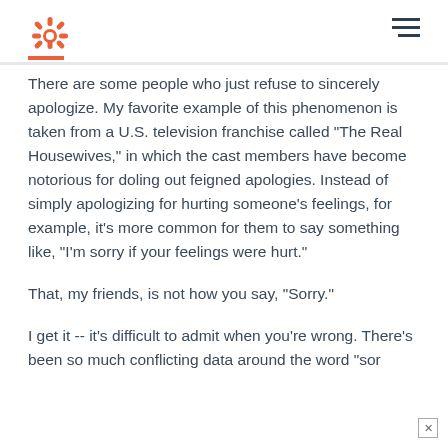HubSpot logo and navigation
There are some people who just refuse to sincerely apologize. My favorite example of this phenomenon is taken from a U.S. television franchise called "The Real Housewives," in which the cast members have become notorious for doling out feigned apologies. Instead of simply apologizing for hurting someone's feelings, for example, it's more common for them to say something like, "I'm sorry if your feelings were hurt."
That, my friends, is not how you say, "Sorry."
I get it -- it's difficult to admit when you're wrong. There's been so much conflicting data around the word "sor